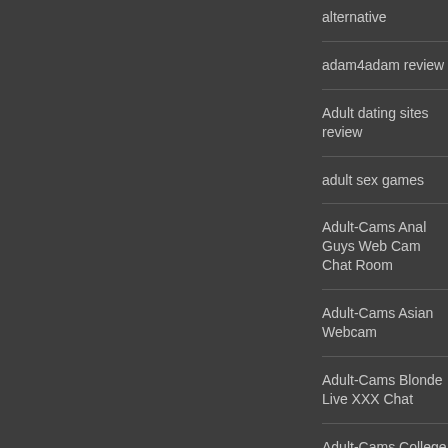alternative
adam4adam review
Adult dating sites review
adult sex games
Adult-Cams Anal Guys Web Cam Chat Room
Adult-Cams Asian Webcam
Adult-Cams Blonde Live XXX Chat
Adult-Cams College Girls Live Web Cam